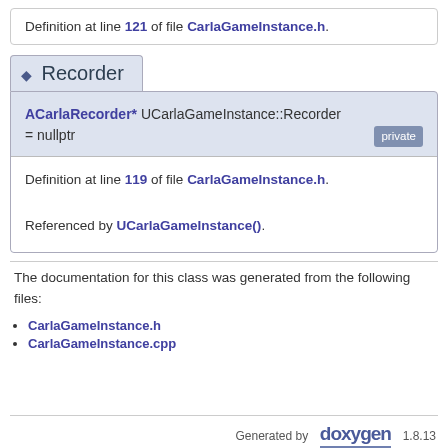Definition at line 121 of file CarlaGameInstance.h.
Recorder
ACarlaRecorder* UCarlaGameInstance::Recorder = nullptr
private
Definition at line 119 of file CarlaGameInstance.h.

Referenced by UCarlaGameInstance().
The documentation for this class was generated from the following files:
CarlaGameInstance.h
CarlaGameInstance.cpp
Generated by doxygen 1.8.13